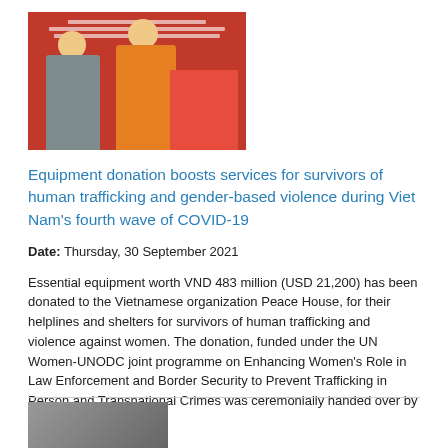[Figure (photo): Two women standing in front of a red banner backdrop, one in grey outfit and one in orange outfit, with boxes/items visible to the right.]
Equipment donation boosts services for survivors of human trafficking and gender-based violence during Viet Nam's fourth wave of COVID-19
Date: Thursday, 30 September 2021
Essential equipment worth VND 483 million (USD 21,200) has been donated to the Vietnamese organization Peace House, for their helplines and shelters for survivors of human trafficking and violence against women. The donation, funded under the UN Women-UNODC joint programme on Enhancing Women's Role in Law Enforcement and Border Security to Prevent Trafficking in Person and Transnational Crimes was ceremonially handed over by UN Women last week.
[Figure (photo): Partial photo visible at bottom of page, cropped.]